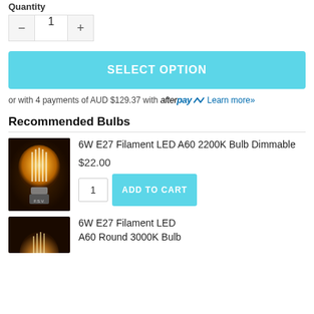Quantity
[Figure (screenshot): Quantity selector with minus button, value 1, and plus button]
[Figure (screenshot): SELECT OPTION button in light blue]
or with 4 payments of AUD $129.37 with afterpay Learn more»
Recommended Bulbs
[Figure (photo): LED filament bulb glowing amber, branded FSV]
6W E27 Filament LED A60 2200K Bulb Dimmable
$22.00
[Figure (screenshot): Quantity input with value 1 and ADD TO CART button]
[Figure (photo): Second LED filament bulb, partial view]
6W E27 Filament LED A60 Round 3000K Bulb